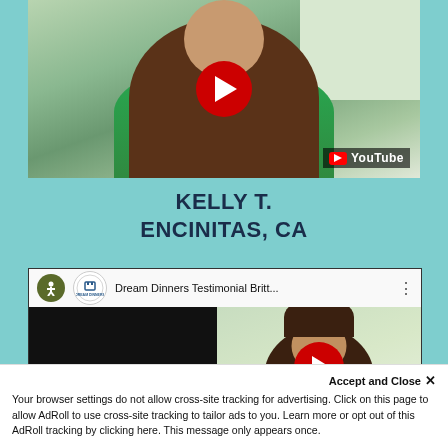[Figure (screenshot): YouTube video thumbnail showing a woman in a green floral top with a YouTube play button overlay and YouTube logo in the bottom right corner]
KELLY T.
ENCINITAS, CA
[Figure (screenshot): YouTube video player showing Dream Dinners Testimonial Britt... with accessibility icon, Dream Dinners logo, video title and a play button over a woman with dark hair]
Accept and Close ✕
Your browser settings do not allow cross-site tracking for advertising. Click on this page to allow AdRoll to use cross-site tracking to tailor ads to you. Learn more or opt out of this AdRoll tracking by clicking here. This message only appears once.